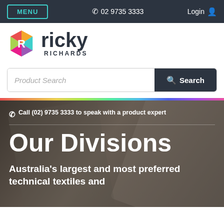MENU  ☎ 02 9735 3333  Login
[Figure (logo): Ricky Richards logo with colorful hexagon icon and bold brand name]
Product Search  Search
☎ Call (02) 9735 3333 to speak with a product expert
Our Divisions
Australia's largest and most preferred technical textiles and